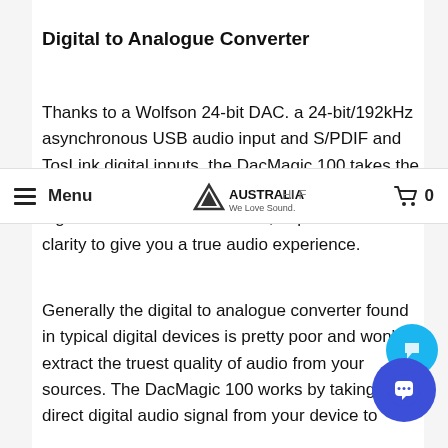Digital to Analogue Converter
Thanks to a Wolfson 24-bit DAC. a 24-bit/192kHz asynchronous USB audio input and S/PDIF and TosLink digital inputs, the DacMagic 100 takes the sound from your computer, iPod, TV and other digital devices and adds detail, depth and added clarity to give you a true audio experience.
Menu  AUSTRALIA HI FI  We Love Sound.  0
Generally the digital to analogue converter found in typical digital devices is pretty poor and won't extract the truest quality of audio from your sources. The DacMagic 100 works by taking a direct digital audio signal from your device to